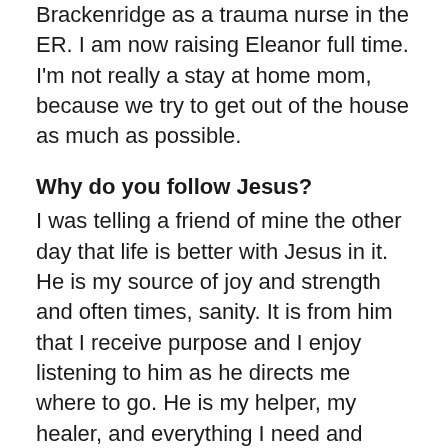Before Eleanor came along I was working at Brackenridge as a trauma nurse in the ER. I am now raising Eleanor full time. I'm not really a stay at home mom, because we try to get out of the house as much as possible.
Why do you follow Jesus?
I was telling a friend of mine the other day that life is better with Jesus in it. He is my source of joy and strength and often times, sanity. It is from him that I receive purpose and I enjoy listening to him as he directs me where to go. He is my helper, my healer, and everything I need and have comes from him. He healed physically and spiritually when he walked on earth. He released people from demons and raised them from the dead. He